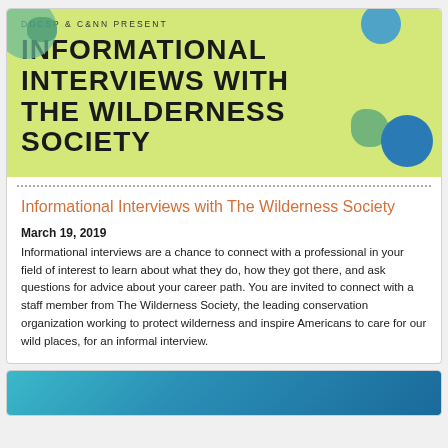[Figure (illustration): Event banner with lime-green background showing 'DDCSP & C&NN PRESENT' subtitle and large bold title 'INFORMATIONAL INTERVIEWS WITH THE WILDERNESS SOCIETY' with decorative teal and blue circular blobs]
Informational Interviews with The Wilderness Society
March 19, 2019
Informational interviews are a chance to connect with a professional in your field of interest to learn about what they do, how they got there, and ask questions for advice about your career path. You are invited to connect with a staff member from The Wilderness Society, the leading conservation organization working to protect wilderness and inspire Americans to care for our wild places, for an informal interview.
[Figure (photo): Partial view of a second card with blue/teal photographic image at the bottom of the page]